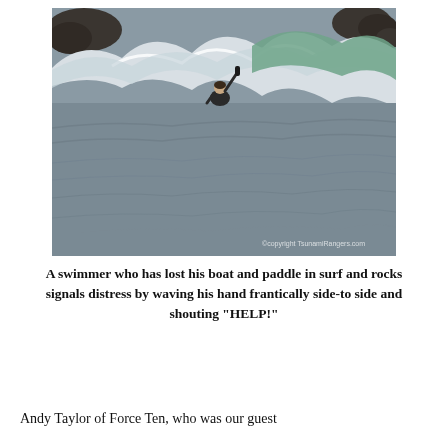[Figure (photo): A swimmer in the ocean who has lost his boat and paddle in surf and rocks, raising one hand and waving while surrounded by waves and rocky outcroppings. Watermark reads: copyright TsunamiRangers.com]
A swimmer who has lost his boat and paddle in surf and rocks signals distress by waving his hand frantically side-to side and shouting "HELP!"
Andy Taylor of Force Ten, who was our guest